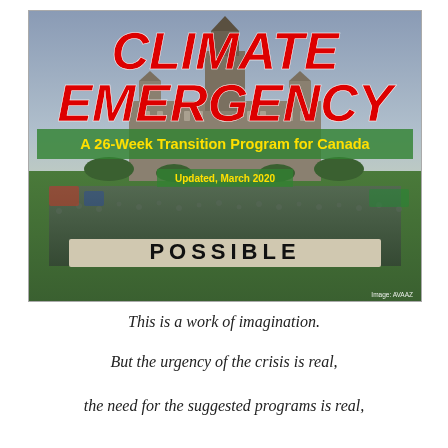[Figure (photo): Cover image showing Parliament Hill in Ottawa with large crowd gathered on the lawn spelling out 'POSSIBLE'. Bold red italic text reads 'CLIMATE EMERGENCY' overlaid at top. Green banner reads 'A 26-Week Transition Program for Canada'. Yellow text says 'Updated, March 2020'. Image credit: AVAAZ.]
This is a work of imagination.
But the urgency of the crisis is real,
the need for the suggested programs is real,